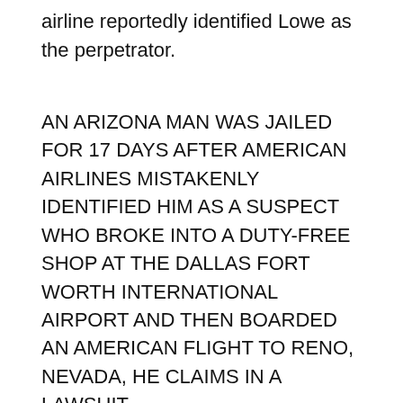Airport. Upon viewing the security footage, the airline reportedly identified Lowe as the perpetrator.
AN ARIZONA MAN WAS JAILED FOR 17 DAYS AFTER AMERICAN AIRLINES MISTAKENLY IDENTIFIED HIM AS A SUSPECT WHO BROKE INTO A DUTY-FREE SHOP AT THE DALLAS FORT WORTH INTERNATIONAL AIRPORT AND THEN BOARDED AN AMERICAN FLIGHT TO RENO, NEVADA, HE CLAIMS IN A LAWSUIT. HTTPS://T.CO/GPLMGRVETI